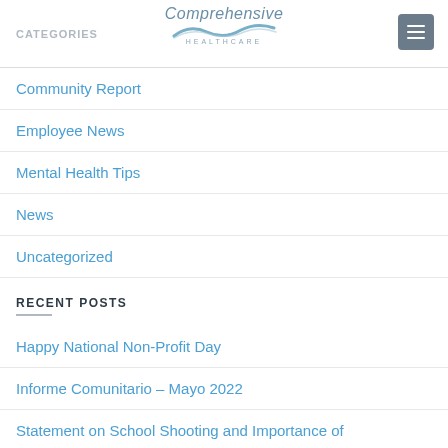Comprehensive Healthcare
CATEGORIES
Community Report
Employee News
Mental Health Tips
News
Uncategorized
RECENT POSTS
Happy National Non-Profit Day
Informe Comunitario – Mayo 2022
Statement on School Shooting and Importance of